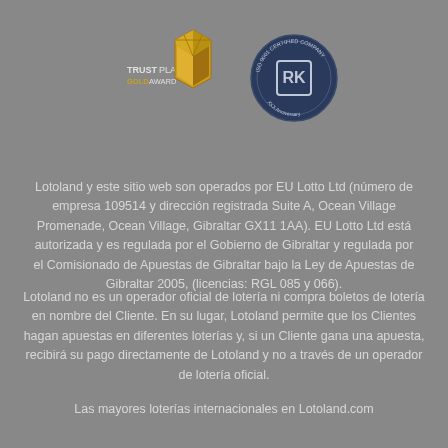[Figure (logo): TrustPlay Gold Award badge — golden hexagonal box icon with text TRUST PLAY GOLD AWARD]
[Figure (logo): RK ISO 9001 certified company anniversary circular seal badge in dark navy blue]
Lotoland y este sitio web son operados por EU Lotto Ltd (número de empresa 109514 y dirección registrada Suite A, Ocean Village Promenade, Ocean Village, Gibraltar GX11 1AA). EU Lotto Ltd está autorizada y es regulada por el Gobierno de Gibraltar y regulada por el Comisionado de Apuestas de Gibraltar bajo la Ley de Apuestas de Gibraltar 2005, (licencias: RGL 085 y 066).
Lotoland no es un operador oficial de lotería ni compra boletos de lotería en nombre del Cliente. En su lugar, Lotoland permite que los Clientes hagan apuestas en diferentes loterías y, si un Cliente gana una apuesta, recibirá su pago directamente de Lotoland y no a través de un operador de lotería oficial.
Las mayores loterías internacionales en Lotoland.com